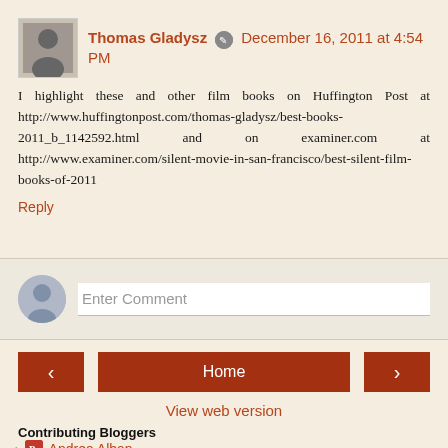Thomas Gladysz  December 16, 2011 at 4:54 PM
I highlight these and other film books on Huffington Post at http://www.huffingtonpost.com/thomas-gladysz/best-books-2011_b_1142592.html and on examiner.com at http://www.examiner.com/silent-movie-in-san-francisco/best-silent-film-books-of-2011
Reply
Enter Comment
Home
View web version
Contributing Bloggers
Andrea Alban